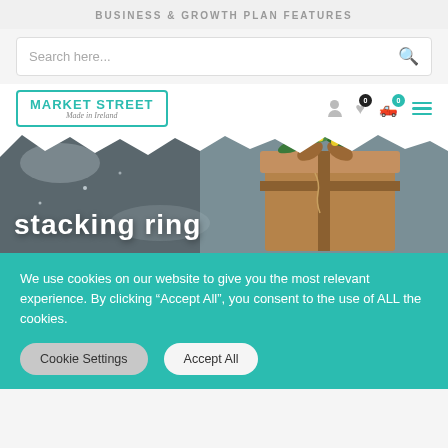BUSINESS & GROWTH PLAN FEATURES
Search here...
[Figure (logo): Market Street Made in Ireland logo with teal border]
[Figure (photo): Hero banner with kraft paper gift box decorated with green leaves and yellow mimosa flowers, text overlay reading 'stacking ring']
We use cookies on our website to give you the most relevant experience. By clicking “Accept All”, you consent to the use of ALL the cookies.
Cookie Settings
Accept All